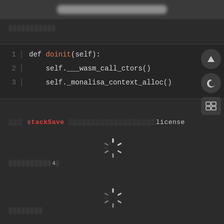[blurred header bar]
[blurred section label]
[Figure (screenshot): Code block showing Python code:
  1  def doinit(self):
  2      self.___wasm_call_ctors()
  3      self._monalisa_context_alloc()]
[blurred] stackSave [blurred]license
[Figure (other): Spinning loader icon]
[blurred]4[blurred]
[Figure (other): Spinning loader icon]
[blurred section label]